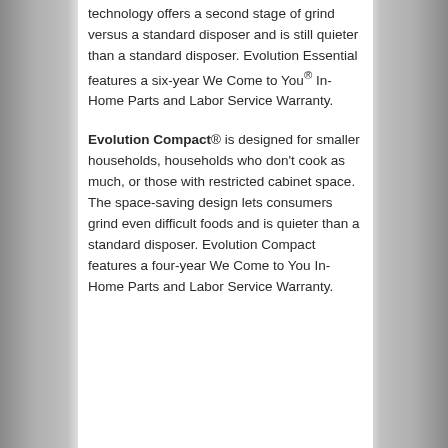technology offers a second stage of grind versus a standard disposer and is still quieter than a standard disposer. Evolution Essential features a six-year We Come to You® In-Home Parts and Labor Service Warranty.
Evolution Compact® is designed for smaller households, households who don't cook as much, or those with restricted cabinet space. The space-saving design lets consumers grind even difficult foods and is quieter than a standard disposer. Evolution Compact features a four-year We Come to You In-Home Parts and Labor Service Warranty.